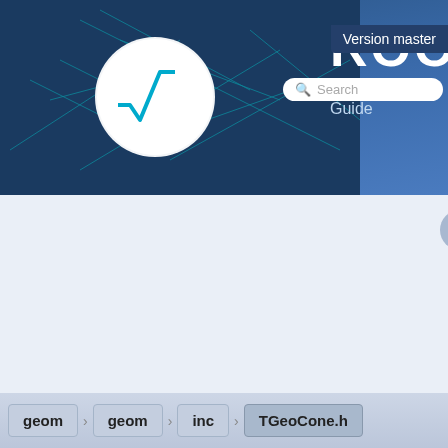[Figure (logo): ROOT framework logo with teal particle physics graphic and square root symbol on dark blue background]
ROOT
Reference Guide
Version master
Search
TGeoCone.h
Go to the documentation of this file.
geom > geom > inc > TGeoCone.h